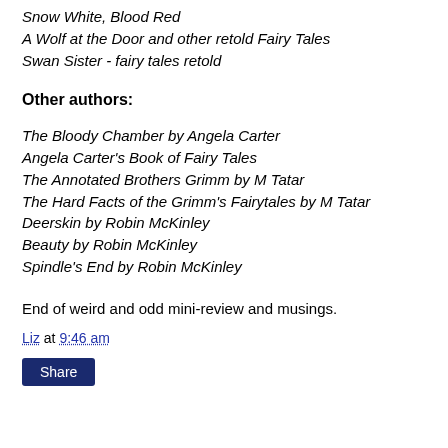Snow White, Blood Red
A Wolf at the Door and other retold Fairy Tales
Swan Sister - fairy tales retold
Other authors:
The Bloody Chamber by Angela Carter
Angela Carter's Book of Fairy Tales
The Annotated Brothers Grimm by M Tatar
The Hard Facts of the Grimm's Fairytales by M Tatar
Deerskin by Robin McKinley
Beauty by Robin McKinley
Spindle's End by Robin McKinley
End of weird and odd mini-review and musings.
Liz at 9:46 am